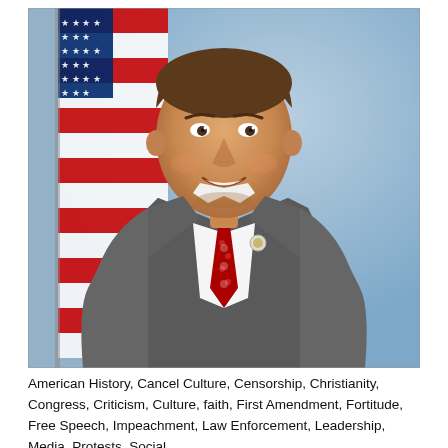[Figure (photo): Official portrait photograph of a man in a grey suit with a red patterned tie and Congressional pin, smiling, with an American flag visible in the background against a blue backdrop.]
American History, Cancel Culture, Censorship, Christianity, Congress, Criticism, Culture, faith, First Amendment, Fortitude, Free Speech, Impeachment, Law Enforcement, Leadership, Media, Protests, Social